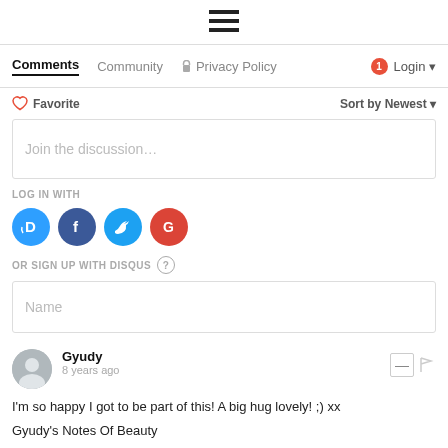[Figure (other): Hamburger menu icon (three horizontal lines)]
Comments  Community  Privacy Policy  1  Login
♡ Favorite    Sort by Newest ▼
Join the discussion…
LOG IN WITH
[Figure (other): Social login icons: Disqus (D), Facebook (f), Twitter bird, Google (G)]
OR SIGN UP WITH DISQUS ?
Name
Gyudy
8 years ago
I'm so happy I got to be part of this! A big hug lovely! ;) xx
Gyudy's Notes Of Beauty